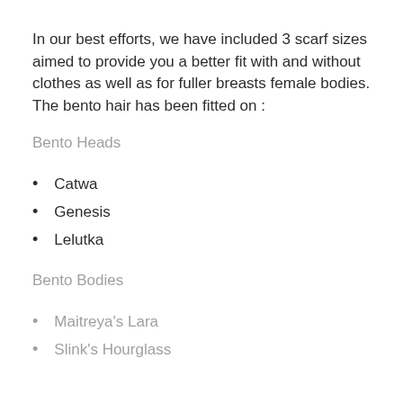In our best efforts, we have included 3 scarf sizes aimed to provide you a better fit with and without clothes as well as for fuller breasts female bodies. The bento hair has been fitted on :
Bento Heads
Catwa
Genesis
Lelutka
Bento Bodies
Maitreya's Lara
Slink's Hourglass